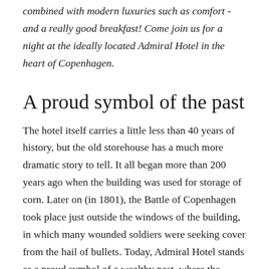combined with modern luxuries such as comfort - and a really good breakfast! Come join us for a night at the ideally located Admiral Hotel in the heart of Copenhagen.
A proud symbol of the past
The hotel itself carries a little less than 40 years of history, but the old storehouse has a much more dramatic story to tell. It all began more than 200 years ago when the building was used for storage of corn. Later on (in 1801), the Battle of Copenhagen took place just outside the windows of the building, in which many wounded soldiers were seeking cover from the hail of bullets. Today, Admiral Hotel stands as a proud symbol of a wealthy past, where the Danish navy experienced absolute power and prestige.